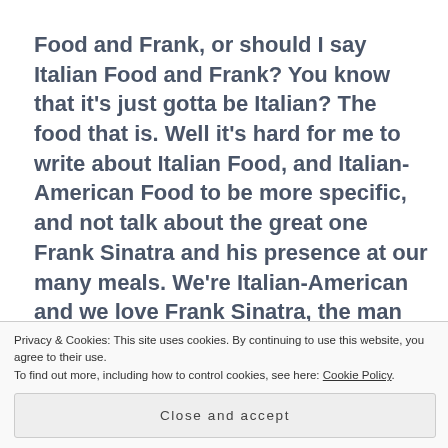Food and Frank, or should I say Italian Food and Frank? You know that it's just gotta be Italian? The food that is. Well it's hard for me to write about Italian Food, and Italian-American Food to be more specific, and not talk about the great one Frank Sinatra and his presence at our many meals. We're Italian-American and we love Frank Sinatra, the man and his music, it's a requirement and absolute must of any true
Privacy & Cookies: This site uses cookies. By continuing to use this website, you agree to their use. To find out more, including how to control cookies, see here: Cookie Policy
Close and accept